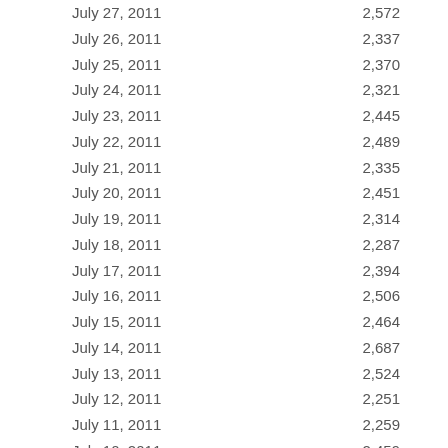| Date | Value |
| --- | --- |
| July 27, 2011 | 2,572 |
| July 26, 2011 | 2,337 |
| July 25, 2011 | 2,370 |
| July 24, 2011 | 2,321 |
| July 23, 2011 | 2,445 |
| July 22, 2011 | 2,489 |
| July 21, 2011 | 2,335 |
| July 20, 2011 | 2,451 |
| July 19, 2011 | 2,314 |
| July 18, 2011 | 2,287 |
| July 17, 2011 | 2,394 |
| July 16, 2011 | 2,506 |
| July 15, 2011 | 2,464 |
| July 14, 2011 | 2,687 |
| July 13, 2011 | 2,524 |
| July 12, 2011 | 2,251 |
| July 11, 2011 | 2,259 |
| July 10, 2011 | 2,459 |
| July 9, 2011 | 2,555 |
| July 8, 2011 | 2,552 |
| July 7, 2011 | 2,452 |
| July 6, 2011 | 2,573 |
| July 5, 2011 | 2,286 |
| July 4, 2011 | ... |